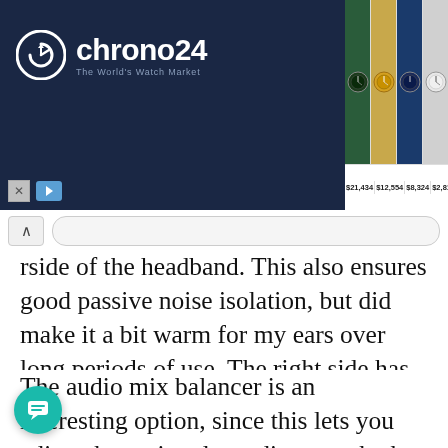[Figure (screenshot): Chrono24 advertisement banner showing luxury watch marketplace with four Rolex watches priced at $21,434, $12,554, $8,324, and $2,811]
rside of the headband. This also ensures good passive noise isolation, but did make it a bit warm for my ears over long periods of use. The right side has the power switch, while the left side has the USB Type-C port and 3.5mm jack, a button to electronically mute the microphone, and two dials for volume control and balancing the audio mix.
The audio mix balancer is an interesting option, since this lets you adjust the tuning depending on whether you want the headphones to focus on the audio or voice communication, or decide your own balance between the two. If you're using